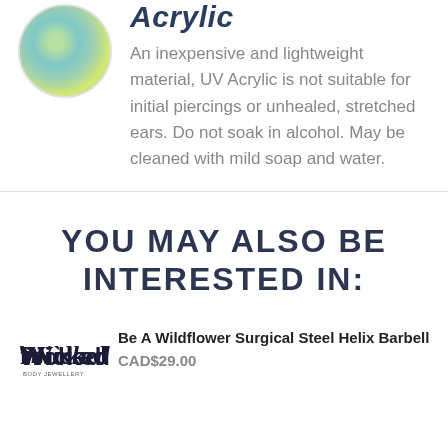[Figure (illustration): Circular watercolor illustration with blue, green, and yellow tones, resembling a painted earth or marble.]
Acrylic
An inexpensive and lightweight material, UV Acrylic is not suitable for initial piercings or unhealed, stretched ears. Do not soak in alcohol. May be cleaned with mild soap and water.
YOU MAY ALSO BE INTERESTED IN:
[Figure (logo): Wicked brand logo in dark text with stylized lettering.]
Be A Wildflower Surgical Steel Helix Barbell
CAD$29.00